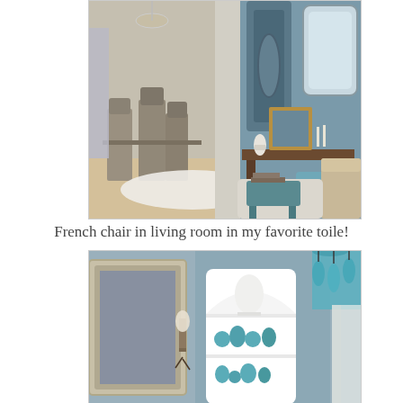[Figure (photo): Interior photo of a French-style living room with a blue-painted wall, ornate mirror, console table with decorative items including a gold-framed painting, a distressed teal coffee table, and a daybed with fur throw and toile upholstery. Adjacent dining room visible with chandelier and gray French chairs.]
French chair in living room in my favorite toile!
[Figure (photo): Interior photo of a French-style room corner showing a white built-in bookshelf with turquoise decorative items, a wall sconce, a teal bead chandelier, an ornate cream picture frame, and light curtains.]